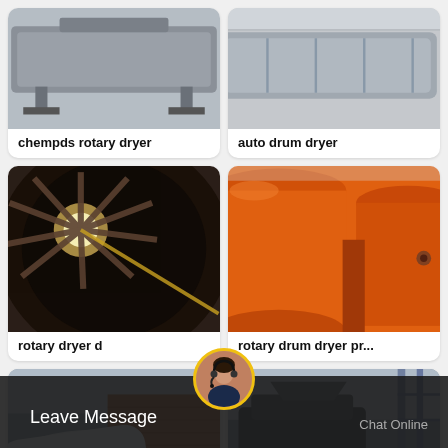[Figure (photo): Industrial rotary dryer machine frame in a factory setting, gray/steel colored]
chempds rotary dryer
[Figure (photo): Auto drum dryer equipment in a factory warehouse]
auto drum dryer
[Figure (photo): Interior cross-section of a rotary dryer showing radial lifting flights, dark brown tones]
rotary dryer d
[Figure (photo): Large orange rotary drum dryer cylinders in a factory, perspective view]
rotary drum dryer pr...
[Figure (photo): White cylindrical rotary dryer outside a brick building]
[Figure (photo): Industrial crusher or roller press machine with green motor components]
Leave Message
Chat Online